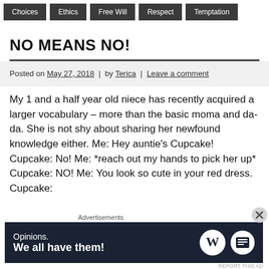Choices
Ethics
Free Will
Respect
Temptation
NO MEANS NO!
Posted on May 27, 2018 | by Terica | Leave a comment
My 1 and a half year old niece has recently acquired a larger vocabulary – more than the basic moma and da-da. She is not shy about sharing her newfound knowledge either. Me: Hey auntie's Cupcake! Cupcake: No! Me: *reach out my hands to pick her up* Cupcake: NO! Me: You look so cute in your red dress. Cupcake:
[Figure (screenshot): WordPress advertisement banner: 'Opinions. We all have them!' with WordPress logo and a circular logo on dark navy background]